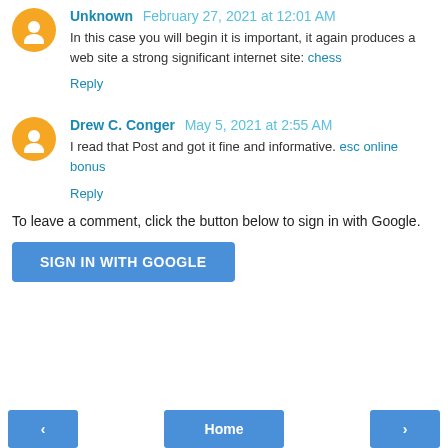Unknown  February 27, 2021 at 12:01 AM
In this case you will begin it is important, it again produces a web site a strong significant internet site: chess
Reply
Drew C. Conger  May 5, 2021 at 2:55 AM
I read that Post and got it fine and informative. esc online bonus
Reply
To leave a comment, click the button below to sign in with Google.
SIGN IN WITH GOOGLE
< | Home | >